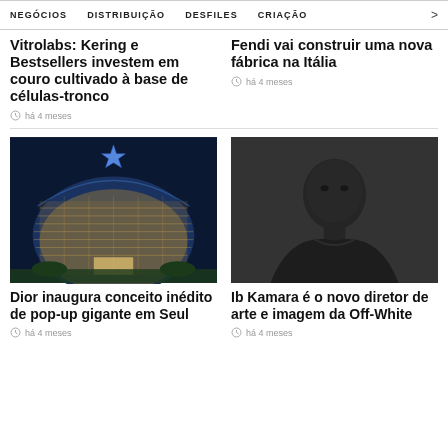NEGÓCIOS   DISTRIBUIÇÃO   DESFILES   CRIAÇÃO   >
Vitrolabs: Kering e Bestsellers investem em couro cultivado à base de células-tronco
há 4 meses
Fendi vai construir uma nova fábrica na Itália
há 4 meses
[Figure (photo): Photo of a large glass dome building at night with a blue star on top, illuminated from inside — Dior pop-up store in Seoul]
[Figure (photo): Black and white portrait photo of Ib Kamara, new art and image director of Off-White]
Dior inaugura conceito inédito de pop-up gigante em Seul
há 4 meses
Ib Kamara é o novo diretor de arte e imagem da Off-White
há 4 meses